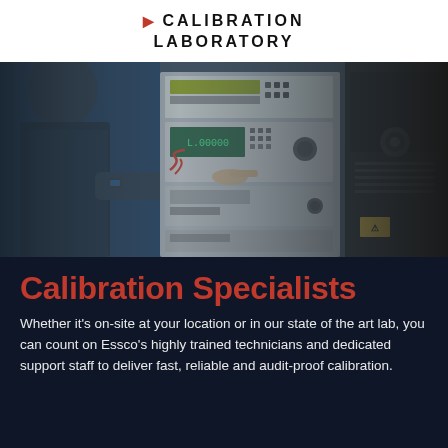CALIBRATION LABORATORY
[Figure (photo): A technician in a dark uniform pointing at a rack of electronic calibration equipment and measurement instruments in a laboratory setting]
Calibration Specialists
Whether it's on-site at your location or in our state of the art lab, you can count on Essco's highly trained technicians and dedicated support staff to deliver fast, reliable and audit-proof calibration.